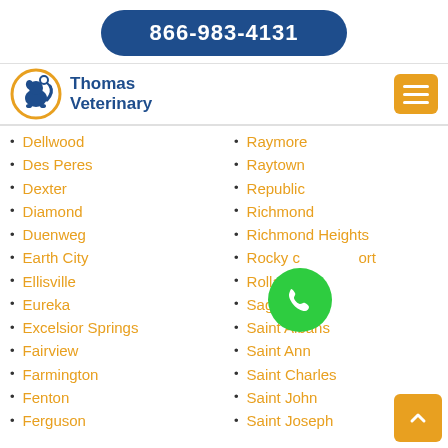866-983-4131
[Figure (logo): Thomas Veterinary logo with orange circle, dog silhouette, and blue brand name]
Dellwood
Des Peres
Dexter
Diamond
Duenweg
Earth City
Ellisville
Eureka
Excelsior Springs
Fairview
Farmington
Fenton
Ferguson
Raymore
Raytown
Republic
Richmond
Richmond Heights
Rocky comfort
Rolla
Saginaw
Saint Albans
Saint Ann
Saint Charles
Saint John
Saint Joseph